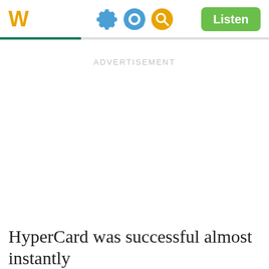W
[Figure (screenshot): Mobile app header bar with W logo in gold, a blue gear/settings icon, a gold search icon, and a green Listen button on the right. Below is a tab bar with a teal underline indicator on the left portion.]
ADVERTISEMENT
HyperCard was successful almost instantly